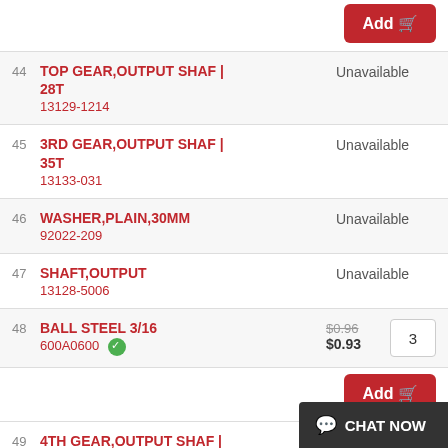| # | Part Name / Number | Availability | Price | Qty |
| --- | --- | --- | --- | --- |
| 44 | TOP GEAR,OUTPUT SHAF | 28T
13129-1214 | Unavailable |  |  |
| 45 | 3RD GEAR,OUTPUT SHAF | 35T
13133-031 | Unavailable |  |  |
| 46 | WASHER,PLAIN,30MM
92022-209 | Unavailable |  |  |
| 47 | SHAFT,OUTPUT
13128-5006 | Unavailable |  |  |
| 48 | BALL STEEL 3/16
600A0600 | $0.96 / $0.93 |  | 3 |
| 49 | 4TH GEAR,OUTPUT SHAF | | Unavailable |  |  |